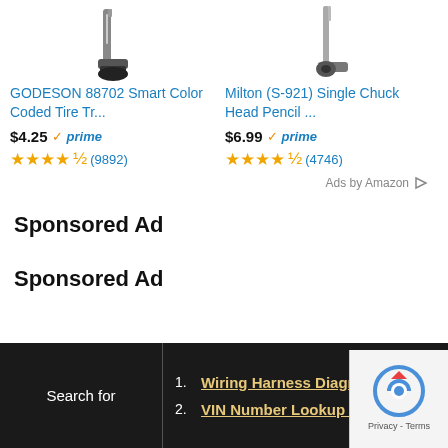[Figure (screenshot): Amazon product listing for GODESON 88702 Smart Color Coded Tire Tr... with product image (tire gauge tool)]
GODESON 88702 Smart Color Coded Tire Tr...
$4.25 ✓prime ★★★★☆ (9892)
[Figure (screenshot): Amazon product listing for Milton (S-921) Single Chuck Head Pencil ... with product image]
Milton (S-921) Single Chuck Head Pencil ...
$6.99 ✓prime ★★★★☆ (4746)
Ads by Amazon ▷
Sponsored Ad
Sponsored Ad
Search for
1. Wiring Harness Diagram
2. VIN Number Lookup Free
[Figure (logo): Google reCAPTCHA logo with Privacy - Terms text]